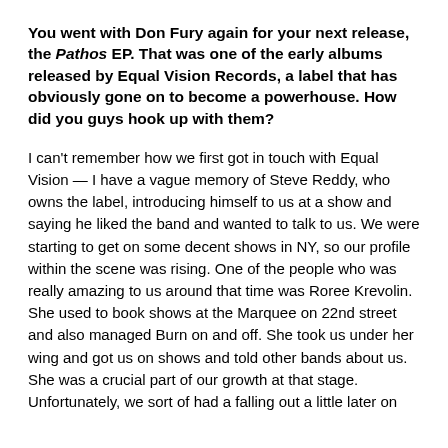You went with Don Fury again for your next release, the Pathos EP. That was one of the early albums released by Equal Vision Records, a label that has obviously gone on to become a powerhouse. How did you guys hook up with them?
I can't remember how we first got in touch with Equal Vision — I have a vague memory of Steve Reddy, who owns the label, introducing himself to us at a show and saying he liked the band and wanted to talk to us. We were starting to get on some decent shows in NY, so our profile within the scene was rising. One of the people who was really amazing to us around that time was Roree Krevolin. She used to book shows at the Marquee on 22nd street and also managed Burn on and off. She took us under her wing and got us on shows and told other bands about us. She was a crucial part of our growth at that stage. Unfortunately, we sort of had a falling out a little later on